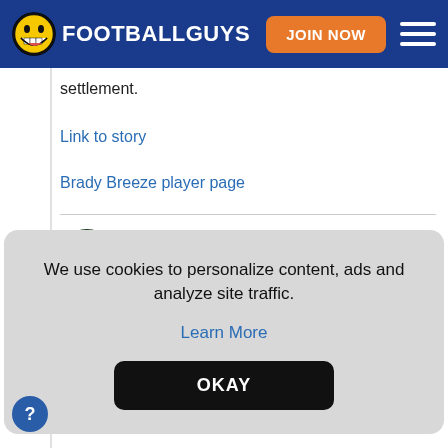FOOTBALLGUYS | JOIN NOW
settlement.
Link to story
Brady Breeze player page
Packers | Two players clear waivers   Tue Aug 16, 08:11 PM
We use cookies to personalize content, ads and analyze site traffic.
Learn More
OKAY